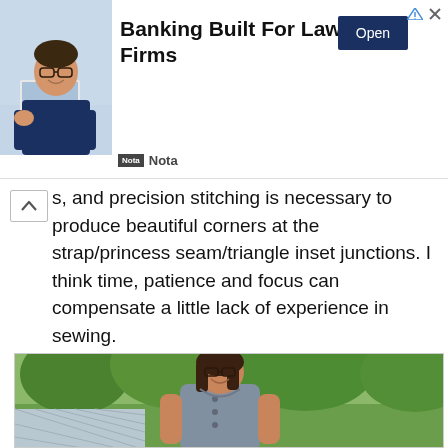[Figure (photo): Advertisement banner: man smiling at laptop on left, text 'Banking Built For Law Firms' in center, blue Open button on right, Nota branding at bottom left]
s, and precision stitching is necessary to produce beautiful corners at the strap/princess seam/triangle inset junctions. I think time, patience and focus can compensate a little lack of experience in sewing.
[Figure (photo): Woman with glasses and brown hair, smiling, wearing a sleeveless grey dress with decorative button details, standing outdoors in front of trees and a lattice fence]